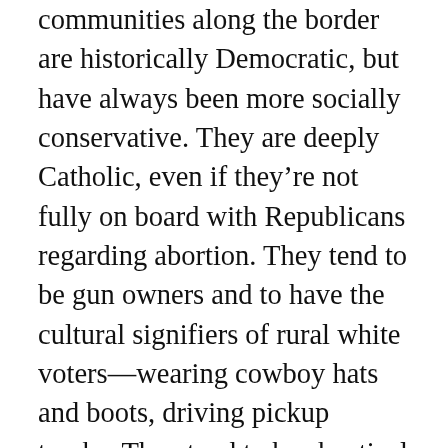communities along the border are historically Democratic, but have always been more socially conservative. They are deeply Catholic, even if they're not fully on board with Republicans regarding abortion. They tend to be gun owners and to have the cultural signifiers of rural white voters—wearing cowboy hats and boots, driving pickup trucks. They tend to be skeptical of liberal narratives that they are victims rather than working people who may want some help from the government. They are frightened by more radical versions of that, and they are certainly friendly to the oil and gas industry, given their reliance on it for blue-collar jobs.
And they are hawkish on immigration and supportive of law enforcement. Some of them have